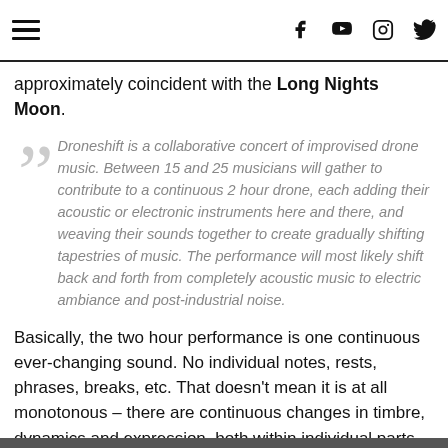[hamburger menu icon] [facebook icon] [youtube icon] [instagram icon] [twitter icon]
approximately coincident with the Long Nights Moon.
Droneshift is a collaborative concert of improvised drone music. Between 15 and 25 musicians will gather to contribute to a continuous 2 hour drone, each adding their acoustic or electronic instruments here and there, and weaving their sounds together to create gradually shifting tapestries of music. The performance will most likely shift back and forth from completely acoustic music to electric ambiance and post-industrial noise.
Basically, the two hour performance is one continuous ever-changing sound. No individual notes, rests, phrases, breaks, etc. That doesn't mean it is at all monotonous – there are continuous changes in timbre, dynamics and expression, both within individual parts as various musicians enter and exit the sound.